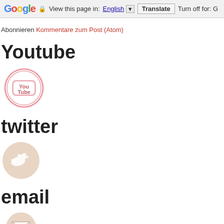[Figure (screenshot): Google Translate toolbar at top of page showing Google logo, lock icon, 'View this page in: English ▼' language selector, 'Translate' button, and 'Turn off for: G' text]
Abonnieren Kommentare zum Post (Atom)
Youtube
[Figure (logo): YouTube circular logo icon with pink/red border, showing 'You Tube' text inside]
twitter
[Figure (logo): Twitter bird logo icon in beige/light tan circle]
email
[Figure (logo): Email envelope icon in beige/light tan circle, partially visible at bottom of page]